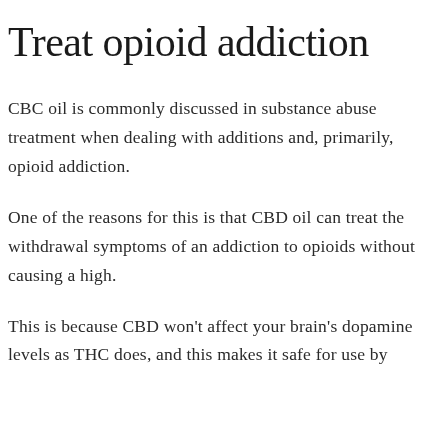Treat opioid addiction
CBC oil is commonly discussed in substance abuse treatment when dealing with additions and, primarily, opioid addiction.
One of the reasons for this is that CBD oil can treat the withdrawal symptoms of an addiction to opioids without causing a high.
This is because CBD won't affect your brain's dopamine levels as THC does, and this makes it safe for use by